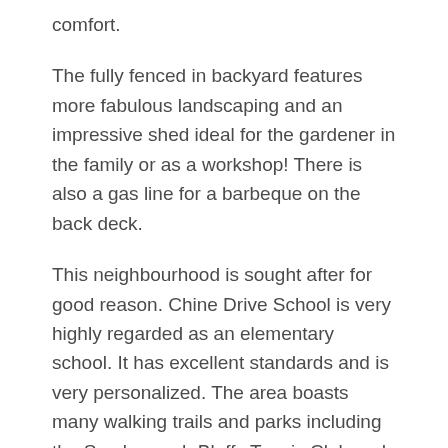comfort.
The fully fenced in backyard features more fabulous landscaping and an impressive shed ideal for the gardener in the family or as a workshop! There is also a gas line for a barbeque on the back deck.
This neighbourhood is sought after for good reason. Chine Drive School is very highly regarded as an elementary school. It has excellent standards and is very personalized. The area boasts many walking trails and parks including the Scarborough Bluffs Tennis Club and Bluffers Park Marina – a full-service marina as well as the overall feeling of a close-knit community of supportive families and Cliffside Village retailers.